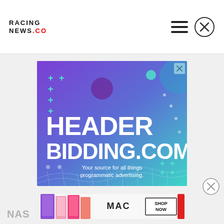RACING NEWS.CO
[Figure (screenshot): HeaderBidding.com advertisement banner with purple-to-teal gradient background, decorative plus signs, circles, and grid wave pattern. Large white text reads 'HEADER BIDDING.COM' with subtitle 'Your source for all things programmatic advertising.']
[Figure (photo): MAC cosmetics advertisement showing colorful lipsticks (purple, pink, coral, red) with MAC logo and 'SHOP NOW' call to action button.]
NAS